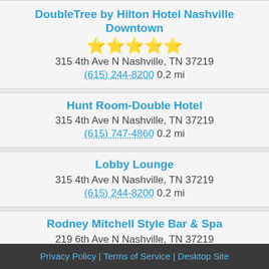DoubleTree by Hilton Hotel Nashville Downtown
[Figure (other): 4.5 star rating shown with 4 gold stars and 1 grey star]
315 4th Ave N Nashville, TN 37219
(615) 244-8200 0.2 mi
Hunt Room-Double Hotel
315 4th Ave N Nashville, TN 37219
(615) 747-4860 0.2 mi
Lobby Lounge
315 4th Ave N Nashville, TN 37219
(615) 244-8200 0.2 mi
Rodney Mitchell Style Bar & Spa
219 6th Ave N Nashville, TN 37219
(615) 242-5455 0.2 mi
1 to 20 of 200.
Next 20
Privacy Policy | Terms of Service | Desktop Site